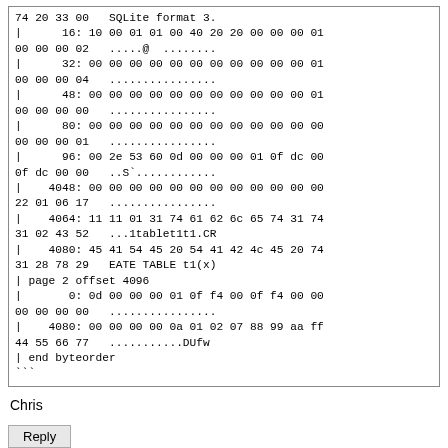74 20 33 00   SQLite format 3.
|      16: 10 00 01 01 00 40 20 20 00 00 00 01
00 00 00 02   .....@  ........
|      32: 00 00 00 00 00 00 00 00 00 00 00 01
00 00 00 04   ................
|      48: 00 00 00 00 00 00 00 00 00 00 00 01
00 00 00 00   ................
|      80: 00 00 00 00 00 00 00 00 00 00 00 00
00 00 00 01   ................
|      96: 00 2e 53 60 0d 00 00 00 01 0f dc 00
0f dc 00 00   ..S`............
|    4048: 00 00 00 00 00 00 00 00 00 00 00 00
22 01 06 17   ................
|    4064: 11 11 01 31 74 61 62 6c 65 74 31 74
31 02 43 52   ...1tablet1t1.CR
|    4080: 45 41 54 45 20 54 41 42 4c 45 20 74
31 28 78 29   EATE TABLE t1(x)
| page 2 offset 4096
|       0: 0d 00 00 00 01 0f f4 00 0f f4 00 00
00 00 00 00   ................
|    4080: 00 00 00 00 0a 01 02 07 88 99 aa ff
44 55 66 77   ...........DUfw
| end byteorder
```
Chris
Reply